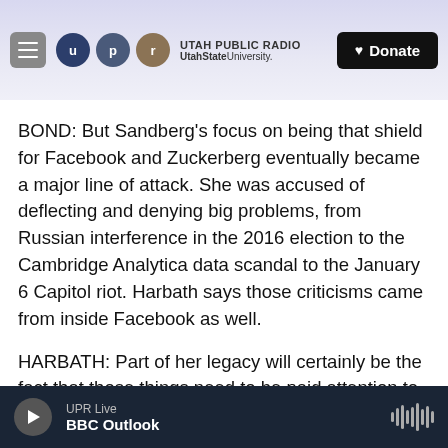Utah Public Radio — UtahState University — Donate
BOND: But Sandberg's focus on being that shield for Facebook and Zuckerberg eventually became a major line of attack. She was accused of deflecting and denying big problems, from Russian interference in the 2016 election to the Cambridge Analytica data scandal to the January 6 Capitol riot. Harbath says those criticisms came from inside Facebook as well.
HARBATH: Part of her legacy will certainly be the fact that those things need to be paid attention to a lot sooner to make sure they don't become really
UPR Live — BBC Outlook